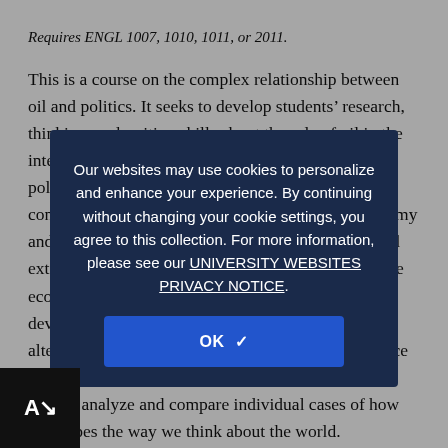Requires ENGL 1007, 1010, 1011, or 2011.
This is a course on the complex relationship between oil and politics. It seeks to develop students’ research, thinking, and writing skills about the role of oil in the international political system as well as in domestic politics. Today, oil is everywhere, but who really controls it? What does that mean for national autonomy and geopolitical power? How has the control over oil extraction shaped the relations among nations and the economic, political, social, and environmental development of oil-rich countries? What are the alternatives to oil and what needs to be done to reduce our dependence on it? We address these questions as well as analyze and compare individual cases of how oil shapes the way we think about the world.
Our websites may use cookies to personalize and enhance your experience. By continuing without changing your cookie settings, you agree to this collection. For more information, please see our UNIVERSITY WEBSITES PRIVACY NOTICE.
OK